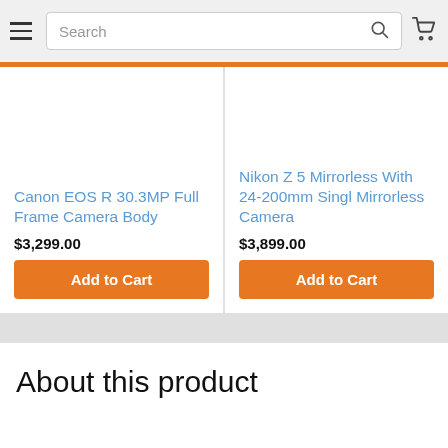Search
Canon EOS R 30.3MP Full Frame Camera Body
$3,299.00
Add to Cart
Nikon Z 5 Mirrorless With 24-200mm Singl Mirrorless Camera
$3,899.00
Add to Cart
About this product